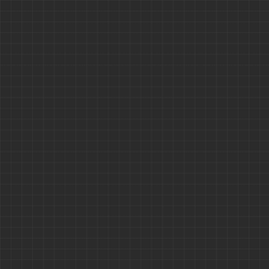[Figure (screenshot): Dark-themed chat application screenshot showing left panel with grid background and right panel with monospace server log text. Bottom bar shows username |P| Nitro with gender icon.]
1.35urt linux-i38
Email\xxx@xxx.
Warmup:
2 teams with 34
--------------------
--------------------
Resolving maste
master.urbanter
Sending heartbe
waited about 5 c
Resolving maste
master2.urbante
Sending heartbe
Resolving maste
master.quake3a
Sending heartbe
Hitch warning: 3
]

And for what tim
waited about 5 c
|P| Nitro